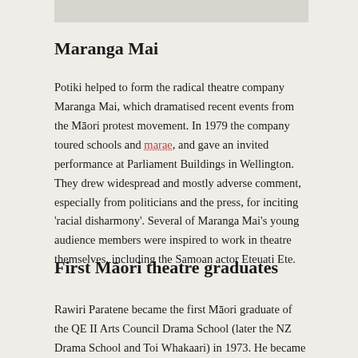[Figure (photo): Partial image visible at the top of the page, appears to be a photo cropped at the top edge]
Maranga Mai
Potiki helped to form the radical theatre company Maranga Mai, which dramatised recent events from the Māori protest movement. In 1979 the company toured schools and marae, and gave an invited performance at Parliament Buildings in Wellington. They drew widespread and mostly adverse comment, especially from politicians and the press, for inciting 'racial disharmony'. Several of Maranga Mai's young audience members were inspired to work in theatre themselves, including the Samoan actor Eteuati Ete.
First Māori theatre graduates
Rawiri Paratene became the first Māori graduate of the QE II Arts Council Drama School (later the NZ Drama School and Toi Whakaari) in 1973. He became an